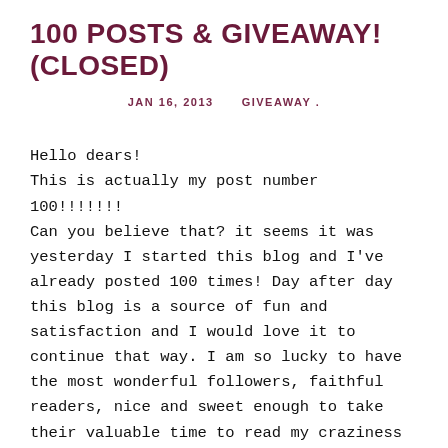100 POSTS & GIVEAWAY! (CLOSED)
JAN 16, 2013   GIVEAWAY .
Hello dears!
This is actually my post number 100!!!!!!!
Can you believe that? it seems it was yesterday I started this blog and I've already posted 100 times! Day after day this blog is a source of fun and satisfaction and I would love it to continue that way. I am so lucky to have the most wonderful followers, faithful readers, nice and sweet enough to take their valuable time to read my craziness and comment on my redoubtable ideas. I enjoy each day receiving and answering your comments! You've spoiled me now